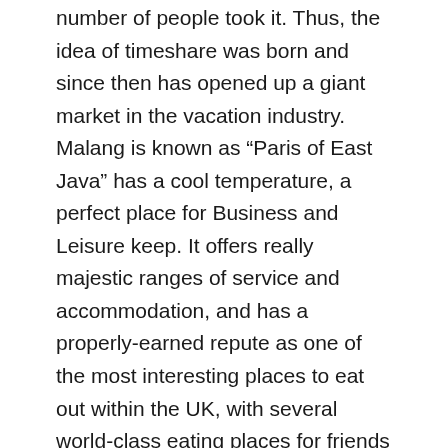number of people took it. Thus, the idea of timeshare was born and since then has opened up a giant market in the vacation industry. Malang is known as “Paris of East Java” has a cool temperature, a perfect place for Business and Leisure keep. It offers really majestic ranges of service and accommodation, and has a properly-earned repute as one of the most interesting places to eat out within the UK, with several world-class eating places for friends to select from.
Tahun Baru Islam 1441 Hijriyah disebut dengan satu Suro dalam kalender masyarakat Jawa yang dianggap sebagai hari sakral sehingga sampai saat ini masih kerap diperingati. These Rajasthan luxury hotel or heritage resorts offer excellent spa